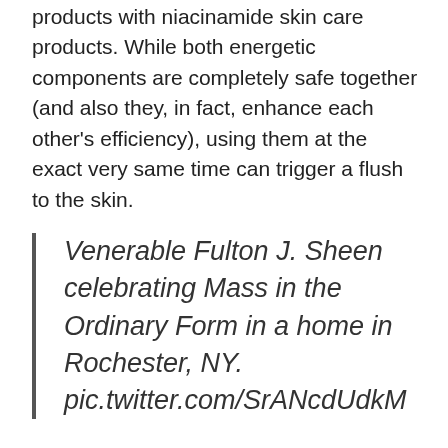products with niacinamide skin care products. While both energetic components are completely safe together (and also they, in fact, enhance each other's efficiency), using them at the exact very same time can trigger a flush to the skin.
Venerable Fulton J. Sheen celebrating Mass in the Ordinary Form in a home in Rochester, NY. pic.twitter.com/SrANcdUdkM